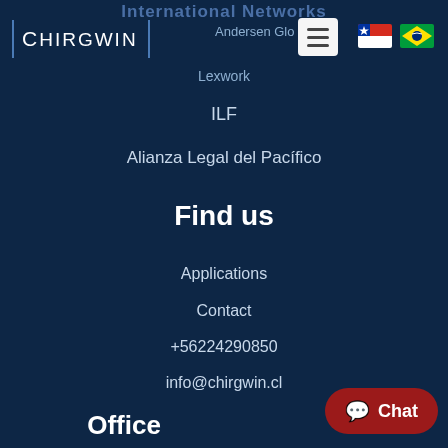International Networks
[Figure (logo): Chirgwin law firm logo with vertical bars and text]
Andersen Global
Lexwork
ILF
Alianza Legal del Pacífico
Find us
Applications
Contact
+56224290850
info@chirgwin.cl
Office
[Figure (illustration): Chat button with speech bubble icon]